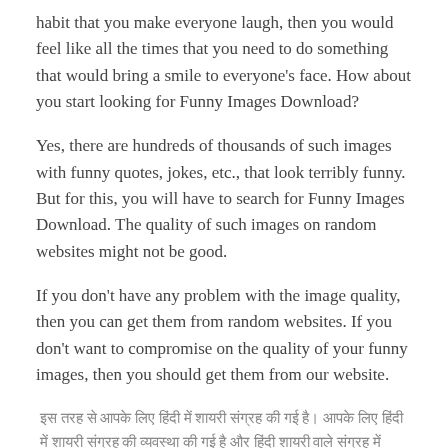habit that you make everyone laugh, then you would feel like all the times that you need to do something that would bring a smile to everyone’s face. How about you start looking for Funny Images Download?
Yes, there are hundreds of thousands of such images with funny quotes, jokes, etc., that look terribly funny. But for this, you will have to search for Funny Images Download. The quality of such images on random websites might not be good.
If you don’t have any problem with the image quality, then you can get them from random websites. If you don’t want to compromise on the quality of your funny images, then you should get them from our website.
इस तरह से आपके लिए हिंदी में शायरी संग्रह की गई है। आपके लिए हिंदी में शायरी संग्रह & हिंदी शायरी डाउनलोड की व्यवस्था की गई है।